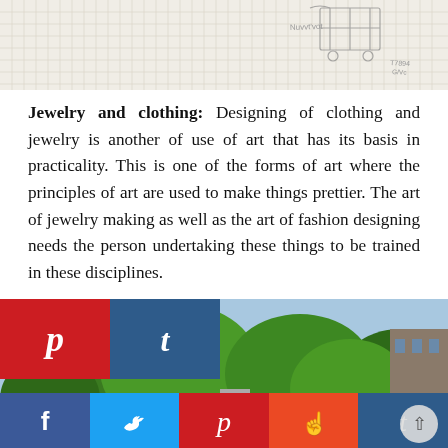[Figure (photo): Top portion of a sketch/blueprint on grid paper with faint pencil drawings and labels]
Jewelry and clothing: Designing of clothing and jewelry is another of use of art that has its basis in practicality. This is one of the forms of art where the principles of art are used to make things prettier. The art of jewelry making as well as the art of fashion designing needs the person undertaking these things to be trained in these disciplines.
[Figure (photo): Photo of lush green trees and a building in the background, with social media share buttons overlaid (Pinterest and Tumblr) and a scroll-up button. A share bar at the bottom shows Facebook, Twitter, Pinterest, StumbleUpon, and Tumblr buttons.]